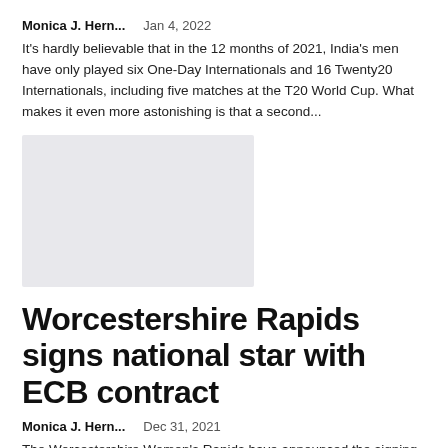Monica J. Hern...    Jan 4, 2022
It's hardly believable that in the 12 months of 2021, India's men have only played six One-Day Internationals and 16 Twenty20 Internationals, including five matches at the T20 World Cup. What makes it even more astonishing is that a second...
[Figure (photo): Gray placeholder image for an article thumbnail]
Worcestershire Rapids signs national star with ECB contract
Monica J. Hern...    Dec 31, 2021
The Worcestershire Women's Rapids have announced the signing of